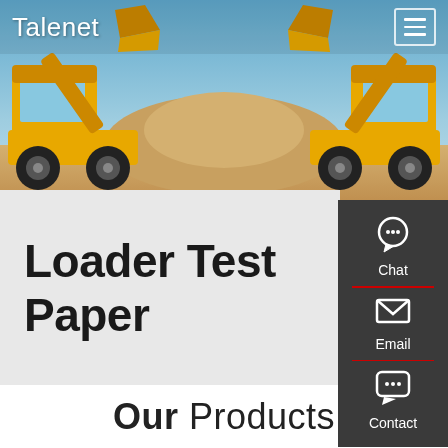[Figure (photo): Hero banner showing two yellow wheel loaders facing each other with raised buckets filled with dirt, against a blue sky background. Talenet branding and hamburger menu in the overlay header.]
Loader Test Paper
[Figure (infographic): Dark gray sidebar with Chat (headset icon), Email (envelope icon), and Contact (speech bubble icon) options separated by red horizontal lines.]
Our Products